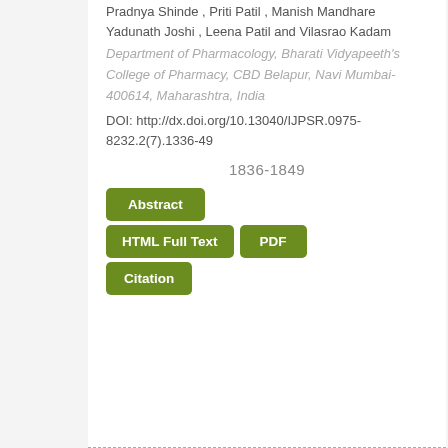Pradnya Shinde , Priti Patil , Manish Mandhare Yadunath Joshi , Leena Patil and Vilasrao Kadam
Department of Pharmacology, Bharati Vidyapeeth's College of Pharmacy, CBD Belapur, Navi Mumbai-400614, Maharashtra, India
DOI: http://dx.doi.org/10.13040/IJPSR.0975-8232.2(7).1336-49
1836-1849
Abstract
HTML Full Text
PDF
Citation